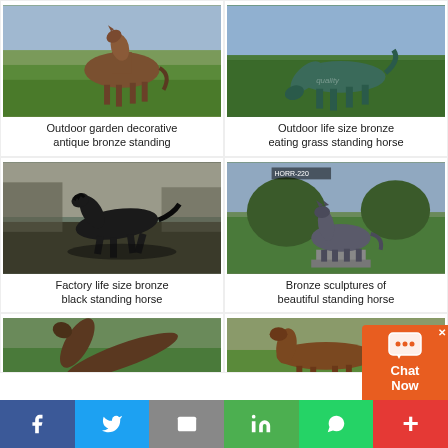[Figure (photo): Bronze standing horse sculpture outdoors on grass]
Outdoor garden decorative antique bronze standing
[Figure (photo): Green bronze horse eating grass outdoors]
Outdoor life size bronze eating grass standing horse
[Figure (photo): Black bronze horse running in garden setting]
Factory life size bronze black standing horse
[Figure (photo): Bronze horse sculpture on pedestal in garden]
Bronze sculptures of beautiful standing horse
[Figure (photo): Bronze horse lying down or rearing in garden]
[Figure (photo): Brown bronze horse standing facing left outdoors]